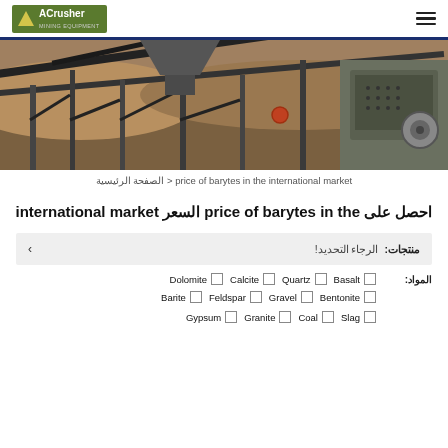[Figure (logo): ACrusher Mining Equipment logo — green background with triangle and text]
[Figure (photo): Industrial mining/crushing equipment with conveyor belts and machinery]
الصفحة الرئيسية > price of barytes in the international market
احصل على price of barytes in the السعر international market
منتجات: الرجاء التحديد!
المواد: Dolomite Calcite Quartz Basalt Barite Feldspar Gravel Bentonite Gypsum Granite Coal Slag